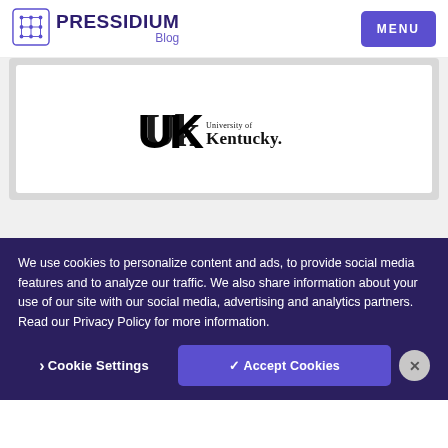PRESSIDIUM Blog — MENU
[Figure (logo): University of Kentucky logo with interlocking UK letters and 'University of Kentucky' text]
We use cookies to personalize content and ads, to provide social media features and to analyze our traffic. We also share information about your use of our site with our social media, advertising and analytics partners. Read our Privacy Policy for more information.
Cookie Settings   ✓ Accept Cookies